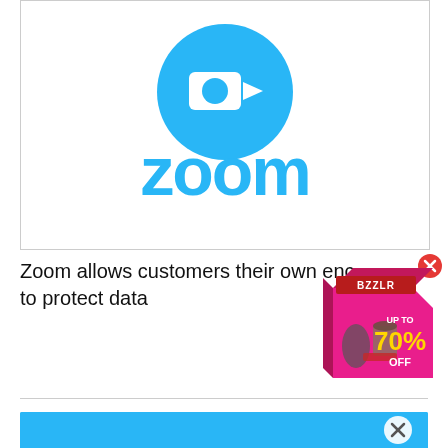[Figure (logo): Zoom logo — blue circle with camera icon above, 'zoom' text in blue below]
Zoom allows customers their own enc… to protect data
[Figure (illustration): Advertisement showing a pink box with kitchen appliances, text UP TO 70% OFF, red minus/close button top right]